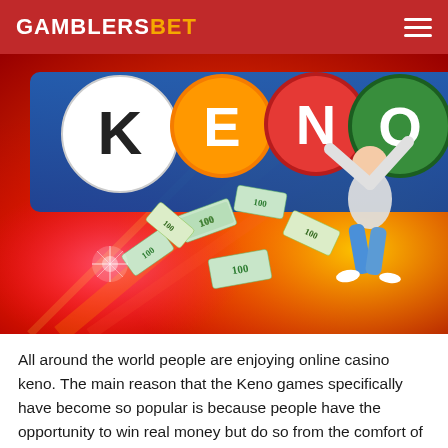GAMBLERSBET
[Figure (photo): Keno casino game promotional image showing the KENO logo with colorful lottery balls, flying dollar bills, and a joyful man jumping with arms raised against a bright red, orange, and yellow glowing background.]
All around the world people are enjoying online casino keno. The main reason that the Keno games specifically have become so popular is because people have the opportunity to win real money but do so from the comfort of their homes.